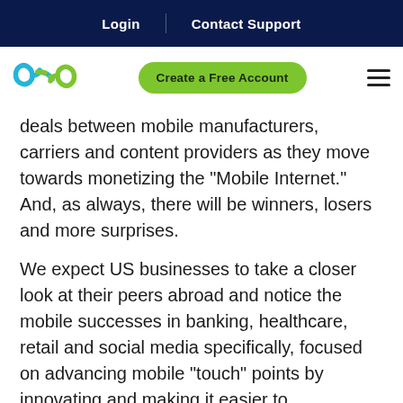Login | Contact Support
[Figure (logo): Cyan and green chain link logo icon]
Create a Free Account
deals between mobile manufacturers, carriers and content providers as they move towards monetizing the "Mobile Internet." And, as always, there will be winners, losers and more surprises.
We expect US businesses to take a closer look at their peers abroad and notice the mobile successes in banking, healthcare, retail and social media specifically, focused on advancing mobile "touch" points by innovating and making it easier to communicate and transact